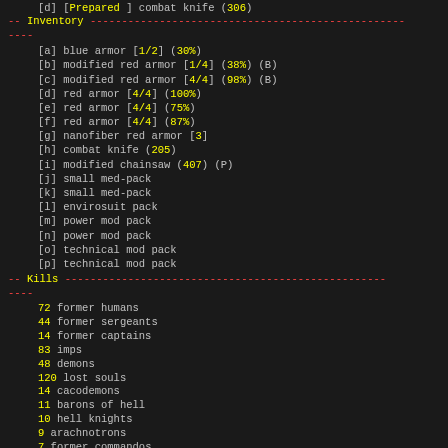[d] [Prepared ] combat knife (306)
-- Inventory -------------------------------------------------------
----
[a] blue armor [1/2] (30%)
[b] modified red armor [1/4] (38%) (B)
[c] modified red armor [4/4] (98%) (B)
[d] red armor [4/4] (100%)
[e] red armor [4/4] (75%)
[f] red armor [4/4] (87%)
[g] nanofiber red armor [3]
[h] combat knife (205)
[i] modified chainsaw (407) (P)
[j] small med-pack
[k] small med-pack
[l] envirosuit pack
[m] power mod pack
[n] power mod pack
[o] technical mod pack
[p] technical mod pack
-- Kills -------------------------------------------------------
----
72 former humans
44 former sergeants
14 former captains
83 imps
48 demons
120 lost souls
14 cacodemons
11 barons of hell
10 hell knights
9 arachnotrons
7 former commandos
4 pain elementals
6 arch-viles
4 mancubi
3 revenants
2 bruiser brothers